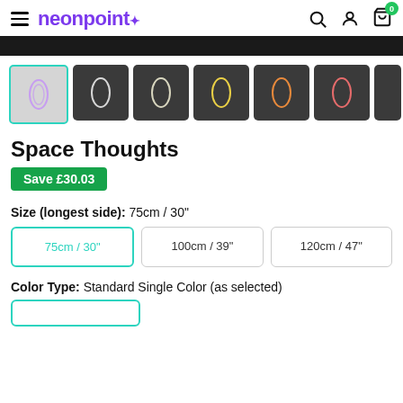neonpoint+ (navigation with search, account, cart icons)
[Figure (screenshot): Dark banner image at top of product page]
[Figure (photo): Row of 7 product thumbnails showing neon sign in different colors: selected thumbnail shows light purple neon, others show white, warm white, yellow, orange, red variants on bedroom backgrounds]
Space Thoughts
Save £30.03
Size (longest side): 75cm / 30"
75cm / 30" (selected), 100cm / 39", 120cm / 47"
Color Type: Standard Single Color (as selected)